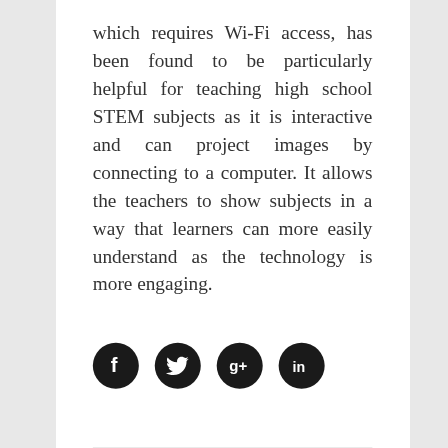which requires Wi-Fi access, has been found to be particularly helpful for teaching high school STEM subjects as it is interactive and can project images by connecting to a computer. It allows the teachers to show subjects in a way that learners can more easily understand as the technology is more engaging.
[Figure (infographic): Four social media share buttons: Facebook (f), Twitter (bird), Google+ (g+), LinkedIn (in) — each as a dark circular icon]